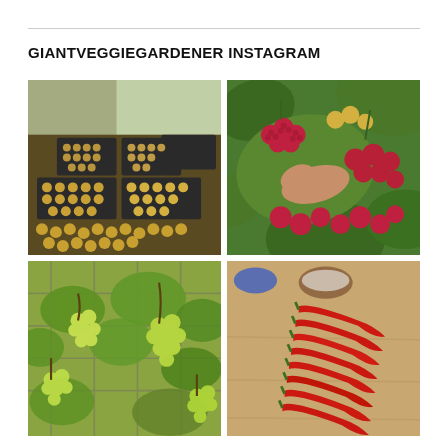GIANTVEGGIEGARDENER INSTAGRAM
[Figure (photo): A greenhouse table covered with multiple black trays filled with small round yellow-orange fruits (plums or similar), viewed from above at an angle.]
[Figure (photo): A hand picking red and yellow raspberries from a plant with large green leaves.]
[Figure (photo): Green grapes growing on a vine overhead, viewed from below through trellis netting.]
[Figure (photo): Rows of red chili peppers arranged on a wooden table, with green stems pointing upward.]